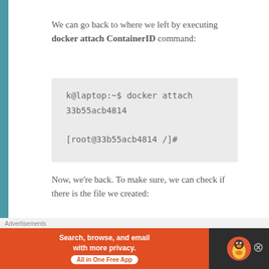We can go back to where we left by executing docker attach ContainerID command:
[Figure (screenshot): Code block showing terminal commands: 'k@laptop:~$ docker attach 33b55acb4814' and '[root@33b55acb4814 /]#']
Now, we're back. To make sure, we can check if there is the file we created:
[Figure (screenshot): Code block showing terminal command: '[root@33b55acb4814 /]# cd /home' (partially visible)]
Advertisements
[Figure (infographic): DuckDuckGo advertisement banner: 'Search, browse, and email with more privacy. All in One Free App']